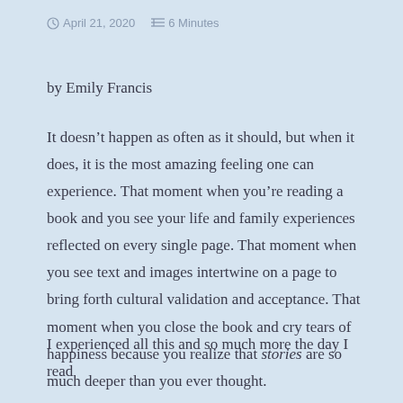April 21, 2020   6 Minutes
by Emily Francis
It doesn't happen as often as it should, but when it does, it is the most amazing feeling one can experience. That moment when you're reading a book and you see your life and family experiences reflected on every single page. That moment when you see text and images intertwine on a page to bring forth cultural validation and acceptance. That moment when you close the book and cry tears of happiness because you realize that stories are so much deeper than you ever thought.
I experienced all this and so much more the day I read